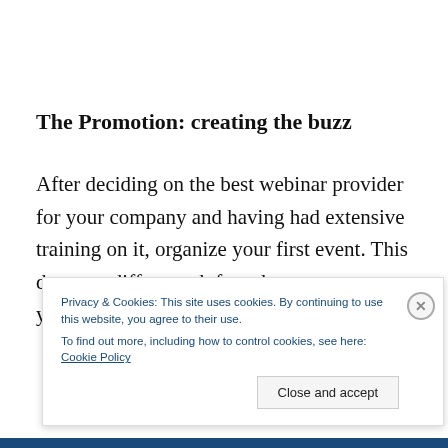The Promotion: creating the buzz
After deciding on the best webinar provider for your company and having had extensive training on it, organize your first event. This does not differ much from how you promote your live in-person
Privacy & Cookies: This site uses cookies. By continuing to use this website, you agree to their use.
To find out more, including how to control cookies, see here: Cookie Policy
Close and accept